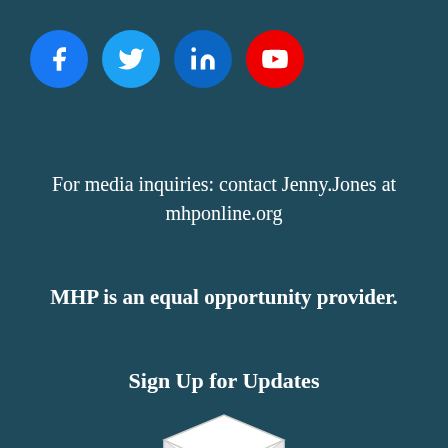[Figure (illustration): Four social media icons in circles: Facebook (blue), Twitter (light blue), LinkedIn (dark blue), YouTube (red)]
For media inquiries: contact Jenny.Jones at mhponline.org
MHP is an equal opportunity provider.
Sign Up for Updates
[Figure (illustration): Open envelope with a small illustration of buildings and a tree inside]